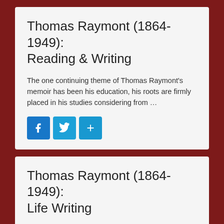Thomas Raymont (1864-1949): Reading & Writing
The one continuing theme of Thomas Raymont's memoir has been his education, his roots are firmly placed in his studies considering from …
[Figure (other): Social share buttons: Facebook, Twitter, and a generic share/plus button]
Thomas Raymont (1864-1949): Life Writing
Working-class memoirs act as an autobiography about a person's life as they provide an account of the...